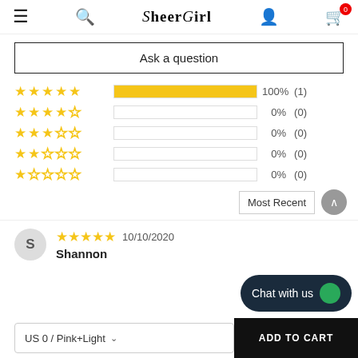SheerGirl
Ask a question
[Figure (bar-chart): Rating distribution]
Most Recent
10/10/2020  Shannon
US 0 / Pink+Light
ADD TO CART
Chat with us